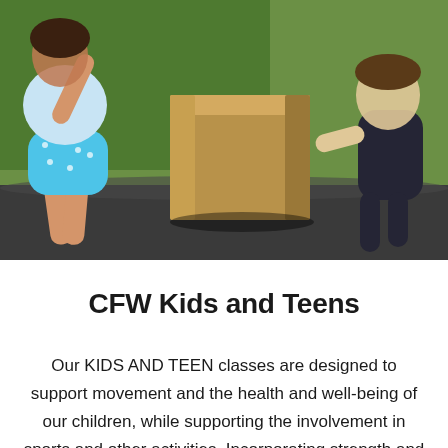[Figure (photo): Overhead/angled photo of children (a girl in a blue polka-dot outfit and a boy in a dark shirt) exercising or jumping near a wooden plyo box in a gym with a green wall and dark floor.]
CFW Kids and Teens
Our KIDS AND TEEN classes are designed to support movement and the health and well-being of our children, while supporting the involvement in sports and other activities. Incorporating strength and